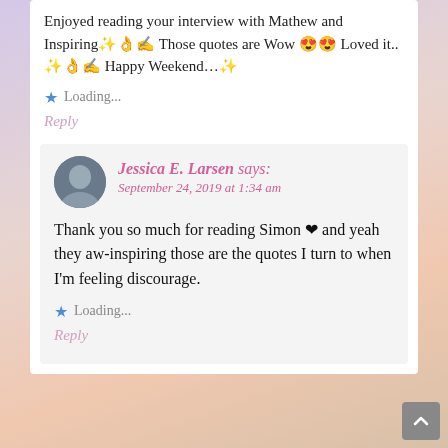Enjoyed reading your interview with Mathew and Inspiring✨👌✍ Those quotes are Wow 😍😍 Loved it.. ✨👌✍ Happy Weekend…✨
Loading...
Reply
Jessica E. Larsen says: September 24, 2019 at 1:34 am
Thank you so much for reading Simon ❤ and yeah they aw-inspiring those are the quotes I turn to when I'm feeling discourage.
Loading...
Reply